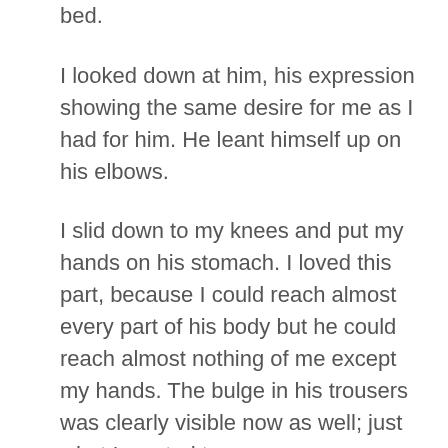bed.
I looked down at him, his expression showing the same desire for me as I had for him. He leant himself up on his elbows.
I slid down to my knees and put my hands on his stomach. I loved this part, because I could reach almost every part of his body but he could reach almost nothing of me except my hands. The bulge in his trousers was clearly visible now as well; just what I wanted to see.
I fumbled at his leather belt, unfastened it and pulled the long tongue free of the buckle. As I unbuttoned his jeans I could feel what was causing the bulge; the long, solid shaft crammed up inside his